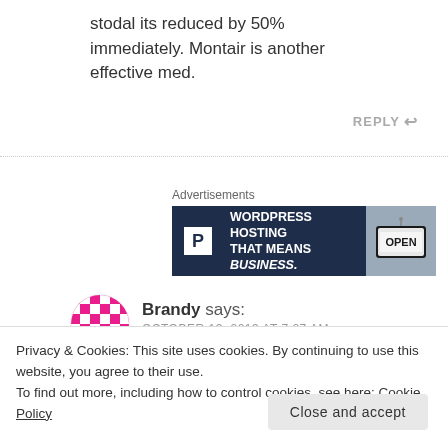stodal its reduced by 50% immediately. Montair is another effective med.
REPLY ↩
[Figure (advertisement): WordPress Hosting That Means Business advertisement banner with P logo and OPEN sign image]
Brandy says: OCTOBER 13, 2013 AT 7:07 AM
Privacy & Cookies: This site uses cookies. By continuing to use this website, you agree to their use.
To find out more, including how to control cookies, see here: Cookie Policy
Close and accept